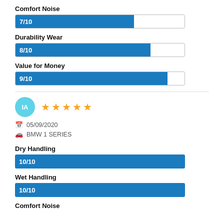Comfort Noise
[Figure (bar-chart): Comfort Noise]
Durability Wear
[Figure (bar-chart): Durability Wear]
Value for Money
[Figure (bar-chart): Value for Money]
IA ★★★★★ 05/09/2020 BMW 1 SERIES
Dry Handling
[Figure (bar-chart): Dry Handling]
Wet Handling
[Figure (bar-chart): Wet Handling]
Comfort Noise